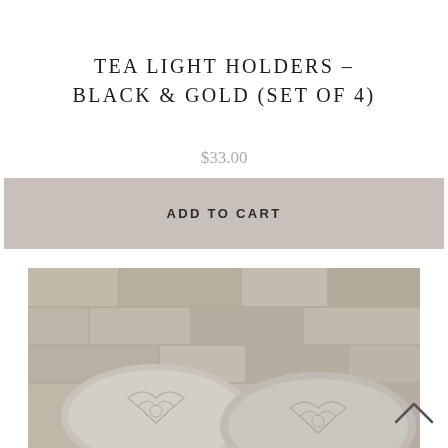TEA LIGHT HOLDERS – BLACK & GOLD (SET OF 4)
$33.00
ADD TO CART
[Figure (photo): Photo of decorative pillows with embossed damask pattern resting against a stone wall background]